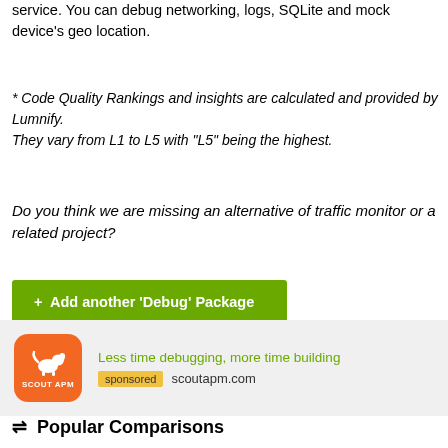service. You can debug networking, logs, SQLite and mock device's geo location.
* Code Quality Rankings and insights are calculated and provided by Lumnify.
They vary from L1 to L5 with "L5" being the highest.
Do you think we are missing an alternative of traffic monitor or a related project?
+ Add another 'Debug' Package
[Figure (logo): Scout APM orange logo with dog icon]
Less time debugging, more time building
sponsored scoutapm.com
⇌ Popular Comparisons